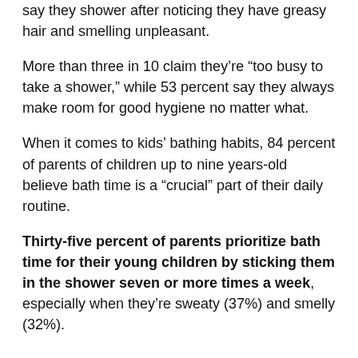say they shower after noticing they have greasy hair and smelling unpleasant.
More than three in 10 claim they’re “too busy to take a shower,” while 53 percent say they always make room for good hygiene no matter what.
When it comes to kids’ bathing habits, 84 percent of parents of children up to nine years-old believe bath time is a “crucial” part of their daily routine.
Thirty-five percent of parents prioritize bath time for their young children by sticking them in the shower seven or more times a week, especially when they’re sweaty (37%) and smelly (32%).